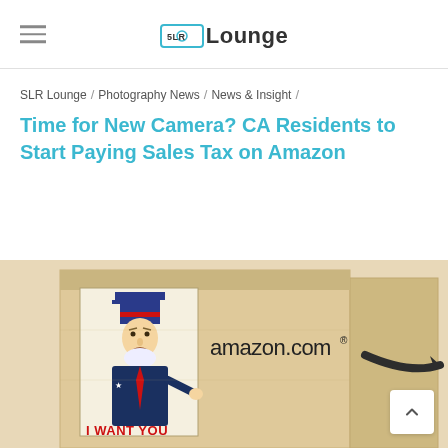[5LR] Lounge
SLR Lounge / Photography News / News & Insight /
Time for New Camera? CA Residents to Start Paying Sales Tax on Amazon
[Figure (photo): Amazon.com cardboard box with 'I WANT YOU' Uncle Sam meme image printed on the front panel, and the Amazon smile logo on the side panel.]